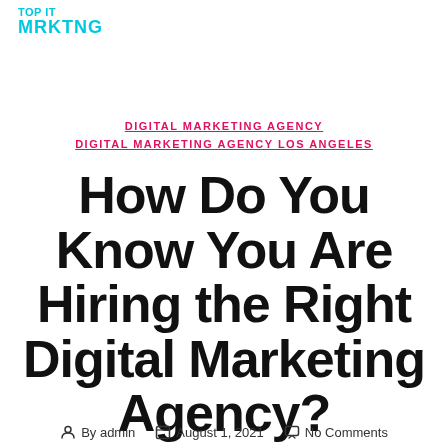TOP IT MRKTNG
DIGITAL MARKETING AGENCY
DIGITAL MARKETING AGENCY LOS ANGELES
How Do You Know You Are Hiring the Right Digital Marketing Agency?
By admin  August 1, 2021  No Comments